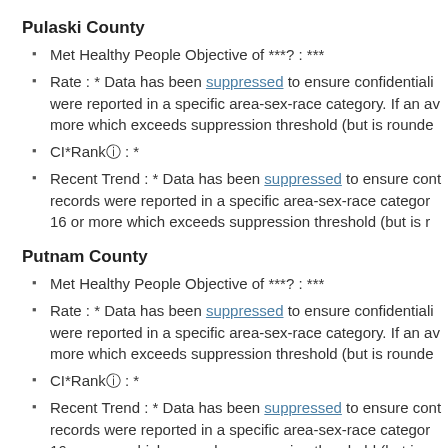Pulaski County
Met Healthy People Objective of ***? : ***
Rate : * Data has been suppressed to ensure confidentiality were reported in a specific area-sex-race category. If an av more which exceeds suppression threshold (but is rounde
CI*Rankⓘ : *
Recent Trend : * Data has been suppressed to ensure confi records were reported in a specific area-sex-race category. 16 or more which exceeds suppression threshold (but is r
Putnam County
Met Healthy People Objective of ***? : ***
Rate : * Data has been suppressed to ensure confidentiality were reported in a specific area-sex-race category. If an av more which exceeds suppression threshold (but is rounde
CI*Rankⓘ : *
Recent Trend : * Data has been suppressed to ensure confi records were reported in a specific area-sex-race category. 16 or more which exceeds suppression threshold (but is r
Randolph County